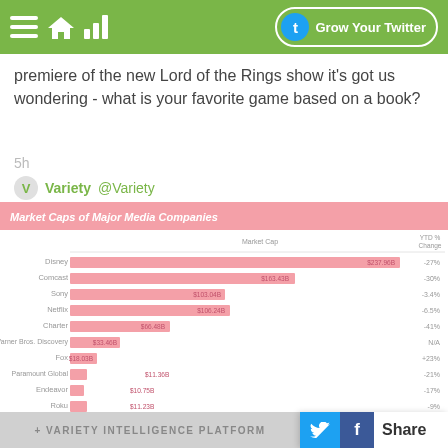Grow Your Twitter
premiere of the new Lord of the Rings show it's got us wondering - what is your favorite game based on a book?
5h
Variety @Variety
[Figure (bar-chart): Market Caps of Major Media Companies]
+ VARIETY INTELLIGENCE PLATFORM